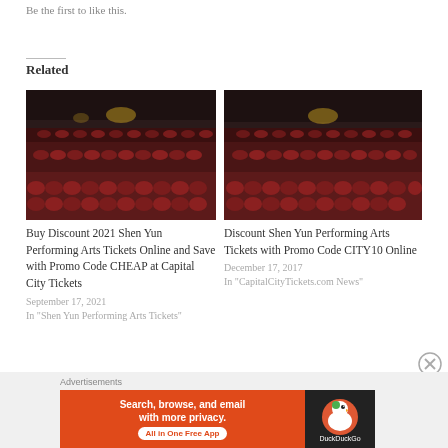Be the first to like this.
Related
[Figure (photo): Theater with rows of empty red seats, dark curtain in background — left card image]
Buy Discount 2021 Shen Yun Performing Arts Tickets Online and Save with Promo Code CHEAP at Capital City Tickets
September 17, 2021
In "Shen Yun Performing Arts Tickets"
[Figure (photo): Theater with rows of empty red seats, dark curtain in background — right card image]
Discount Shen Yun Performing Arts Tickets with Promo Code CITY10 Online
December 17, 2017
In "CapitalCityTickets.com News"
Advertisements
[Figure (screenshot): DuckDuckGo advertisement banner: Search, browse, and email with more privacy. All in One Free App. DuckDuckGo logo on dark right side.]